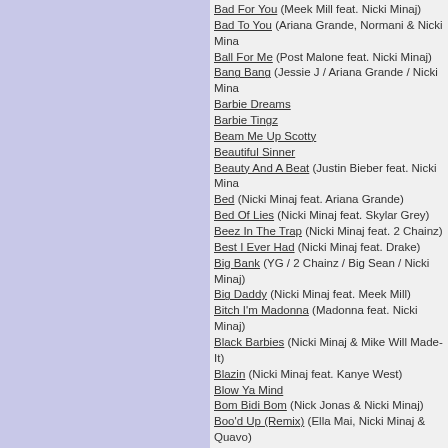Bad For You (Meek Mill feat. Nicki Minaj)
Bad To You (Ariana Grande, Normani & Nicki Minaj)
Ball For Me (Post Malone feat. Nicki Minaj)
Bang Bang (Jessie J / Ariana Grande / Nicki Minaj)
Barbie Dreams
Barbie Tingz
Beam Me Up Scotty
Beautiful Sinner
Beauty And A Beat (Justin Bieber feat. Nicki Minaj)
Bed (Nicki Minaj feat. Ariana Grande)
Bed Of Lies (Nicki Minaj feat. Skylar Grey)
Beez In The Trap (Nicki Minaj feat. 2 Chainz)
Best I Ever Had (Nicki Minaj feat. Drake)
Big Bank (YG / 2 Chainz / Big Sean / Nicki Minaj)
Big Daddy (Nicki Minaj feat. Meek Mill)
Bitch I'm Madonna (Madonna feat. Nicki Minaj)
Black Barbies (Nicki Minaj & Mike Will Made-It)
Blazin (Nicki Minaj feat. Kanye West)
Blow Ya Mind
Bom Bidi Bom (Nick Jonas & Nicki Minaj)
Boo'd Up (Remix) (Ella Mai, Nicki Minaj & Quavo)
Born To Be Wild (Sean Kingston feat. Nicki Minaj)
Boss Ass Bitch
Bottoms Up (Trey Songz feat. Nicki Minaj)
Bottoms Up (Trey Songz feat. Busta Rhymes & Nicki Minaj)
Boyz (Jesy Nelson feat. Nicki Minaj)
Bussin (Nicki Minaj & Lil Baby)
Buy A Heart (Nicki Minaj feat. Meek Mill)
Can Anybody Hear Me
Catch Me
Champion (Nicki Minaj feat. Nas, Drake & Young Jeezy)
Changed It (Nicki Minaj & Lil Wayne)
Check It Out (will.i.am & Nicki Minaj feat. Cheryl Cole)
Check It Out! (will.i.am & Nicki Minaj)
Chi-Rag (Nicki Minaj with G Herbo)
Chun Swae (Nicki Minaj feat. Swae Lee)
Chun Li